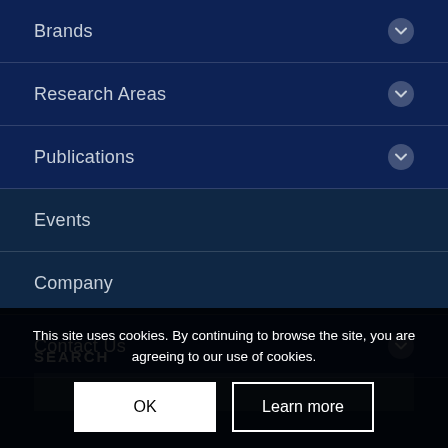Brands
Research Areas
Publications
Events
Company
Contact Us
SEARCH
This site uses cookies. By continuing to browse the site, you are agreeing to our use of cookies.